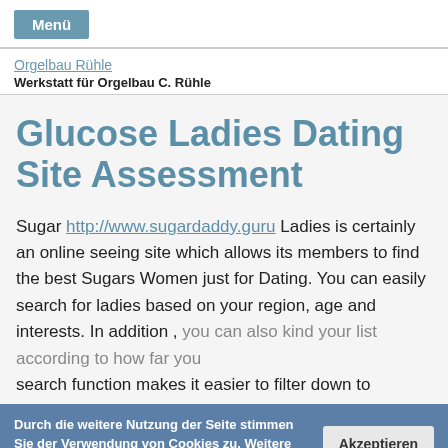Menü
Orgelbau Rühle
Werkstatt für Orgelbau C. Rühle
Glucose Ladies Dating Site Assessment
Sugar http://www.sugardaddy.guru Ladies is certainly an online seeing site which allows its members to find the best Sugars Women just for Dating. You can easily search for ladies based on your region, age and interests. In addition , you can also kind your list according to how far you are... search function makes it easier to filter down to the ladies and...
Durch die weitere Nutzung der Seite stimmen Sie der Verwendung von Cookies zu. Weitere Informationen   Akzeptieren